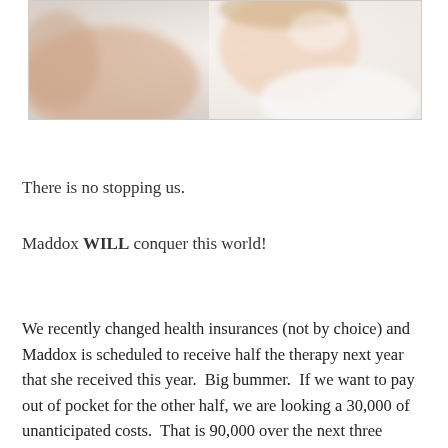[Figure (photo): Close-up photo of a baby or young child, blurred/soft focus, light colors]
There is no stopping us.
Maddox WILL conquer this world!
We recently changed health insurances (not by choice) and Maddox is scheduled to receive half the therapy next year that she received this year.  Big bummer.  If we want to pay out of pocket for the other half, we are looking a 30,000 of unanticipated costs.  That is 90,000 over the next three years.  I can't help but think about the new addition we could have put on our house, the vacations we could have taken, the